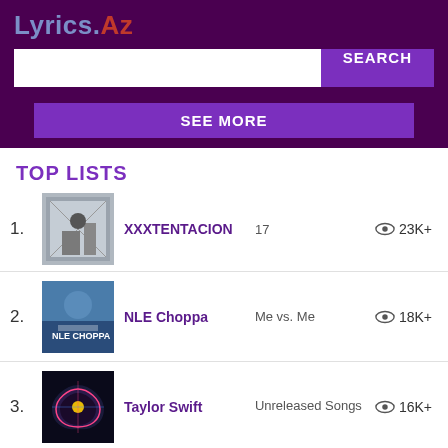Lyrics.Az
SEARCH
SEE MORE
TOP LISTS
1. XXXTENTACION  17  23K+
2. NLE Choppa  Me vs. Me  18K+
3. Taylor Swift  Unreleased Songs  16K+